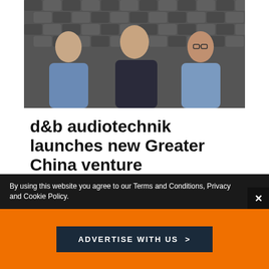[Figure (photo): Three men standing in front of an acoustic foam panel background. The leftmost man wears a light blue shirt, the center man wears a dark jacket, and the rightmost man wears glasses and a light blue shirt.]
d&b audiotechnik launches new Greater China venture
Business
By using this website you agree to our Terms and Conditions, Privacy and Cookie Policy.
ADVERTISE WITH US  >